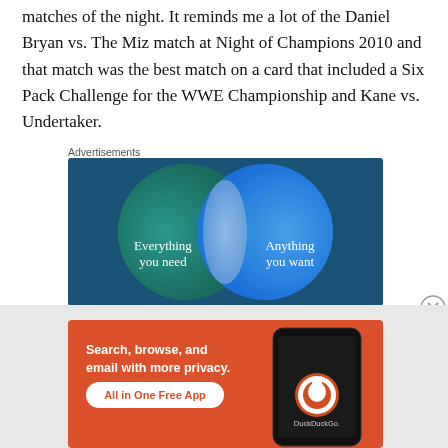matches of the night. It reminds me a lot of the Daniel Bryan vs. The Miz match at Night of Champions 2010 and that match was the best match on a card that included a Six Pack Challenge for the WWE Championship and Kane vs. Undertaker.
Advertisements
[Figure (illustration): Advertisement banner with teal/blue gradient background showing two overlapping circles (Venn diagram style). Left circle (dark teal/green) reads 'Everything you need', right circle (blue) reads 'Anything you want'.]
Advertisements
[Figure (illustration): DuckDuckGo advertisement on orange/red background. Text reads 'Search, browse, and email with more privacy. All in One Free App' with DuckDuckGo logo and a smartphone mockup.]